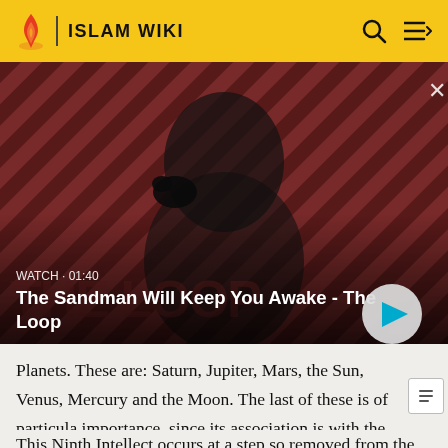ISLAM WIKI
[Figure (screenshot): Video thumbnail for 'The Sandman Will Keep You Awake - The Loop'. Shows a dark-cloaked figure with a raven on his shoulder against a red and black diagonal striped background. Text overlay reads WATCH · 01:40 and the title. A circular play button is visible on the right.]
Planets. These are: Saturn, Jupiter, Mars, the Sun, Venus, Mercury and the Moon. The last of these is of particula importance, since its association is with the Angel Gabr ("The Angel").
This Ninth Intellect occurs at a step so removed from the